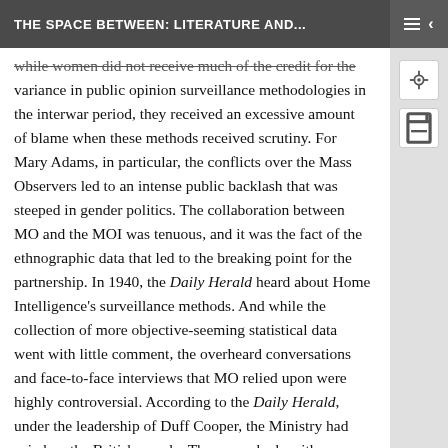THE SPACE BETWEEN: LITERATURE AND...
while women did not receive much of the credit for the variance in public opinion surveillance methodologies in the interwar period, they received an excessive amount of blame when these methods received scrutiny. For Mary Adams, in particular, the conflicts over the Mass Observers led to an intense public backlash that was steeped in gender politics. The collaboration between MO and the MOI was tenuous, and it was the fact of the ethnographic data that led to the breaking point for the partnership. In 1940, the Daily Herald heard about Home Intelligence's surveillance methods. And while the collection of more objective-seeming statistical data went with little comment, the overheard conversations and face-to-face interviews that MO relied upon were highly controversial. According to the Daily Herald, under the leadership of Duff Cooper, the Ministry had spied on the British people. They even had a pithy name for the organized espionage: “Cooper’s Snoopers.”